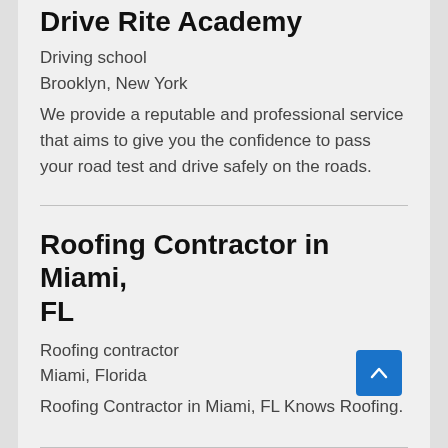Drive Rite Academy
Driving school
Brooklyn, New York
We provide a reputable and professional service that aims to give you the confidence to pass your road test and drive safely on the roads.
Roofing Contractor in Miami, FL
Roofing contractor
Miami, Florida
Roofing Contractor in Miami, FL Knows Roofing.